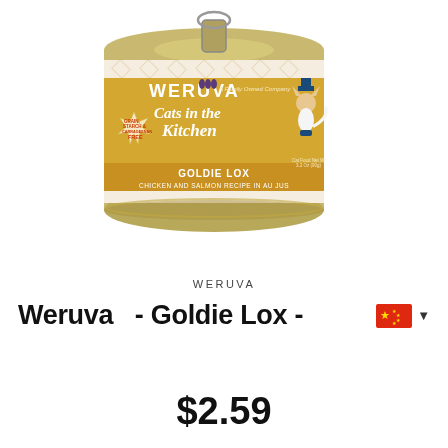[Figure (photo): Product photo of Weruva Cats in the Kitchen Goldie Lox chicken and salmon recipe in au jus cat food can, gold and cream colored label with illustrated cat mascot]
WERUVA
Weruva    - Goldie Lox -
$2.59